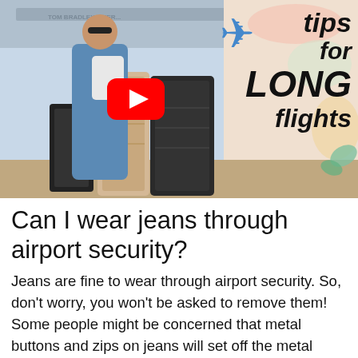[Figure (screenshot): YouTube video thumbnail showing a woman with luggage at an airport (Tom Bradley International terminal), with text overlay reading 'tips for LONG flights', a plane emoji, and a red YouTube play button.]
Can I wear jeans through airport security?
Jeans are fine to wear through airport security. So, don't worry, you won't be asked to remove them! Some people might be concerned that metal buttons and zips on jeans will set off the metal detectors at airport security but these metals are so small